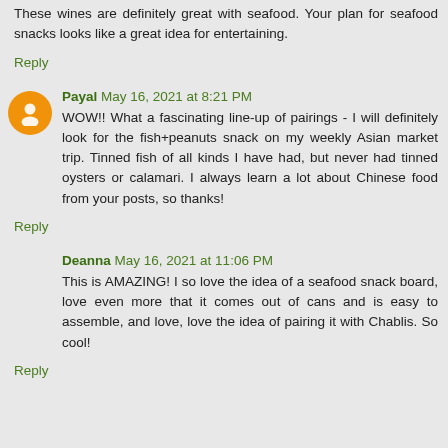These wines are definitely great with seafood. Your plan for seafood snacks looks like a great idea for entertaining.
Reply
Payal May 16, 2021 at 8:21 PM
WOW!! What a fascinating line-up of pairings - I will definitely look for the fish+peanuts snack on my weekly Asian market trip. Tinned fish of all kinds I have had, but never had tinned oysters or calamari. I always learn a lot about Chinese food from your posts, so thanks!
Reply
Deanna May 16, 2021 at 11:06 PM
This is AMAZING! I so love the idea of a seafood snack board, love even more that it comes out of cans and is easy to assemble, and love, love the idea of pairing it with Chablis. So cool!
Reply